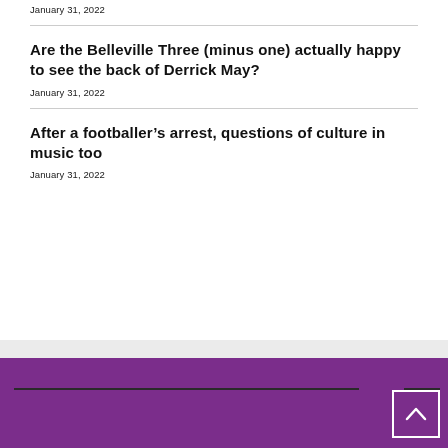January 31, 2022
Are the Belleville Three (minus one) actually happy to see the back of Derrick May?
January 31, 2022
After a footballer’s arrest, questions of culture in music too
January 31, 2022